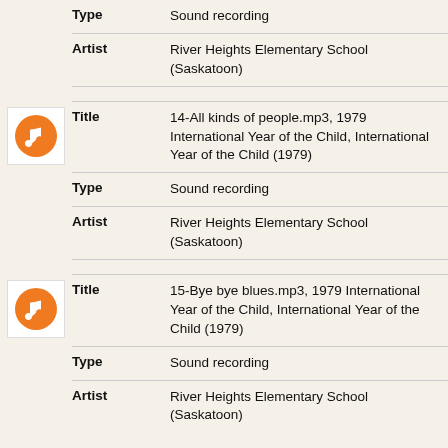| Field | Value |
| --- | --- |
| Type | Sound recording |
| Artist | River Heights Elementary School (Saskatoon) |
[Figure (illustration): Orange circle music note icon]
| Field | Value |
| --- | --- |
| Title | 14-All kinds of people.mp3, 1979 International Year of the Child, International Year of the Child (1979) |
| Type | Sound recording |
| Artist | River Heights Elementary School (Saskatoon) |
[Figure (illustration): Orange circle music note icon]
| Field | Value |
| --- | --- |
| Title | 15-Bye bye blues.mp3, 1979 International Year of the Child, International Year of the Child (1979) |
| Type | Sound recording |
| Artist | River Heights Elementary School (Saskatoon) |